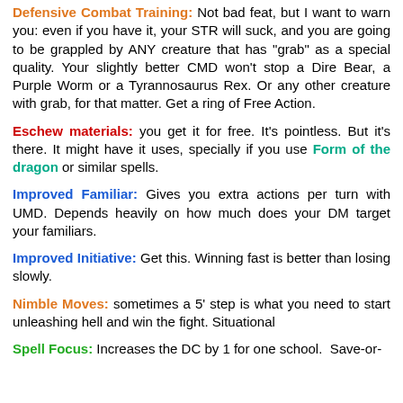Defensive Combat Training: Not bad feat, but I want to warn you: even if you have it, your STR will suck, and you are going to be grappled by ANY creature that has "grab" as a special quality. Your slightly better CMD won't stop a Dire Bear, a Purple Worm or a Tyrannosaurus Rex. Or any other creature with grab, for that matter. Get a ring of Free Action.
Eschew materials: you get it for free. It's pointless. But it's there. It might have it uses, specially if you use Form of the dragon or similar spells.
Improved Familiar: Gives you extra actions per turn with UMD. Depends heavily on how much does your DM target your familiars.
Improved Initiative: Get this. Winning fast is better than losing slowly.
Nimble Moves: sometimes a 5' step is what you need to start unleashing hell and win the fight. Situational
Spell Focus: Increases the DC by 1 for one school. Save-or-...